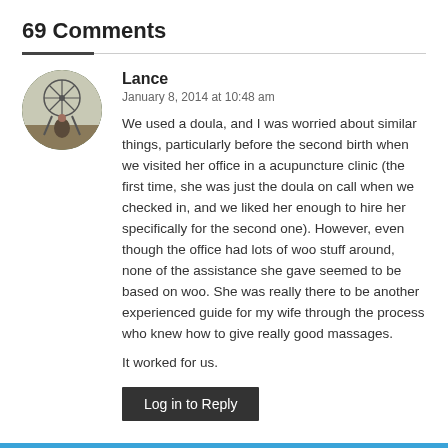69 Comments
Lance
January 8, 2014 at 10:48 am
We used a doula, and I was worried about similar things, particularly before the second birth when we visited her office in a acupuncture clinic (the first time, she was just the doula on call when we checked in, and we liked her enough to hire her specifically for the second one). However, even though the office had lots of woo stuff around, none of the assistance she gave seemed to be based on woo. She was really there to be another experienced guide for my wife through the process who knew how to give really good massages.

It worked for us.
Log in to Reply